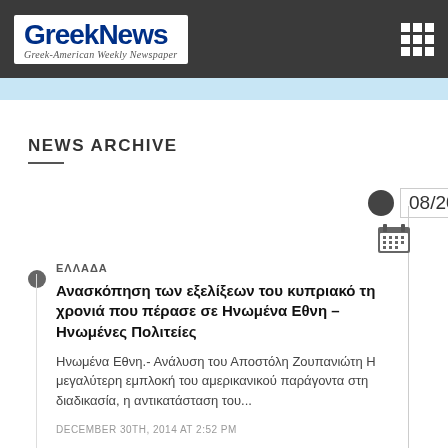GreekNews Greek-American Weekly Newspaper
NEWS ARCHIVE
08/2022
ΕΛΛΑΔΑ
Ανασκόπηση των εξελίξεων του κυπριακό τη χρονιά που πέρασε σε Ηνωμένα Εθνη – Ηνωμένες Πολιτείες
Ηνωμένα Εθνη.- Ανάλυση του Αποστόλη Ζουπανιώτη Η μεγαλύτερη εμπλοκή του αμερικανικού παράγοντα στη διαδικασία, η αντικατάσταση του...
DECEMBER 30TH, 2014 AT 2:52 PM